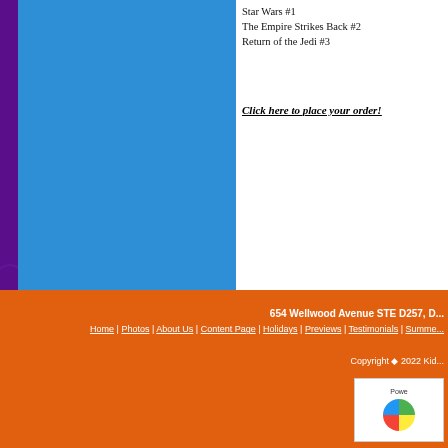Star Wars #1
The Empire Strikes Back #2
Return of the Jedi #3
Click here to place your order!
654 Wellwood Avenue STE D257, D...
Home | Photos | About Us | Content Page | Holidays | Previews | Testimonials | Summer...
Copyright © 2022 Kid...